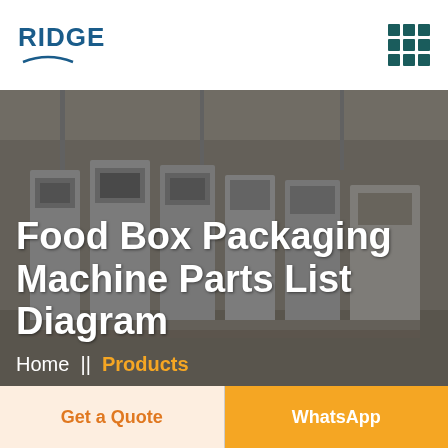RIDGE
[Figure (photo): Industrial food box packaging machines on a factory floor, showing multiple tall white machinery units with control panels, semi-darkened with overlay]
Food Box Packaging Machine Parts List Diagram
Home  ||  Products
Get a Quote
WhatsApp